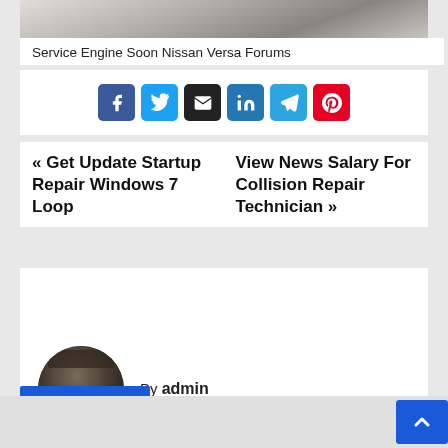[Figure (photo): Partial top image, cropped car/vehicle detail in grayscale]
Service Engine Soon Nissan Versa Forums
[Figure (infographic): Row of social media share buttons: Facebook, Twitter, Email, LinkedIn, Telegram, Pinterest]
« Get Update Startup Repair Windows 7 Loop   View News Salary For Collision Repair Technician »
By admin
[Figure (photo): Circular author avatar showing a person wearing a mask and hat]
[Figure (other): Back-to-top scroll button (blue square with up arrow) in bottom right corner]